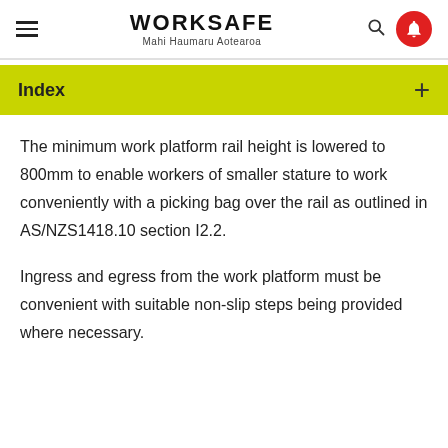WORKSAFE Mahi Haumaru Aotearoa
Index
The minimum work platform rail height is lowered to 800mm to enable workers of smaller stature to work conveniently with a picking bag over the rail as outlined in AS/NZS1418.10 section I2.2.
Ingress and egress from the work platform must be convenient with suitable non-slip steps being provided where necessary.